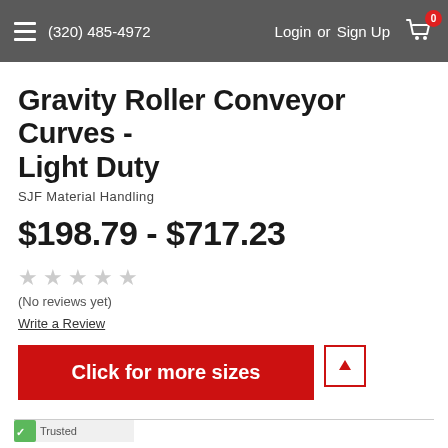(320) 485-4972  Login or Sign Up
Gravity Roller Conveyor Curves - Light Duty
SJF Material Handling
$198.79 - $717.23
★ ★ ★ ★ ★
(No reviews yet)
Write a Review
Click for more sizes